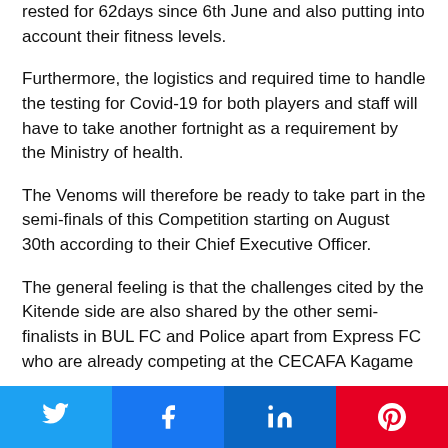rested for 62days since 6th June and also putting into account their fitness levels.
Furthermore, the logistics and required time to handle the testing for Covid-19 for both players and staff will have to take another fortnight as a requirement by the Ministry of health.
The Venoms will therefore be ready to take part in the semi-finals of this Competition starting on August 30th according to their Chief Executive Officer.
The general feeling is that the challenges cited by the Kitende side are also shared by the other semi-finalists in BUL FC and Police apart from Express FC who are already competing at the CECAFA Kagame Cup in Tanzania.
It must also be remembered that following the premature conclusion of the season, the federation granted URA FC
[Figure (infographic): Social share buttons: Twitter (blue), Facebook (blue), LinkedIn (dark blue), Pinterest (red) with respective icons]